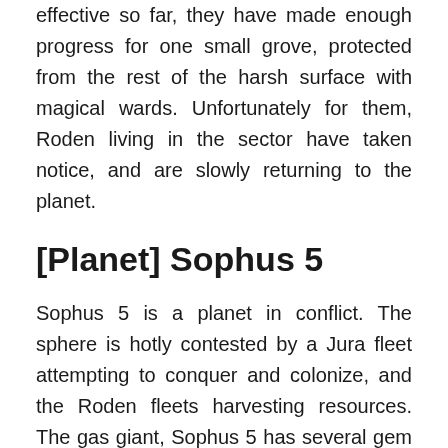effective so far, they have made enough progress for one small grove, protected from the rest of the harsh surface with magical wards. Unfortunately for them, Roden living in the sector have taken notice, and are slowly returning to the planet.
[Planet] Sophus 5
Sophus 5 is a planet in conflict. The sphere is hotly contested by a Jura fleet attempting to conquer and colonize, and the Roden fleets harvesting resources. The gas giant, Sophus 5 has several gem rich moons currently settled by Jura. Much to their chagrin, the Roden have set up a ring of well defended satellites harvesting gases from the planet down below. The Jura are well aware of the impending disaster this has hung over their head, and there is frequent fighting between